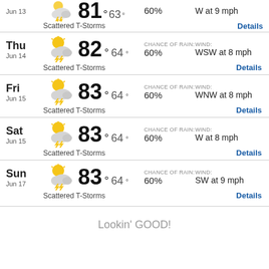Jun 13 | 81° 63° | 60% | W at 9 mph | Scattered T-Storms
Thu Jun 14 | 82° 64° | CHANCE OF RAIN: 60% | WIND: WSW at 8 mph | Scattered T-Storms | Details
Fri Jun 15 | 83° 64° | CHANCE OF RAIN: 60% | WIND: WNW at 8 mph | Scattered T-Storms | Details
Sat Jun 15 | 83° 64° | CHANCE OF RAIN: 60% | WIND: W at 8 mph | Scattered T-Storms | Details
Sun Jun 17 | 83° 64° | CHANCE OF RAIN: 60% | WIND: SW at 9 mph | Scattered T-Storms | Details
Lookin' GOOD!